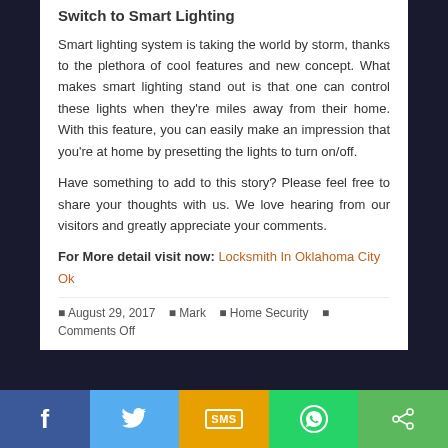Switch to Smart Lighting
Smart lighting system is taking the world by storm, thanks to the plethora of cool features and new concept. What makes smart lighting stand out is that one can control these lights when they're miles away from their home. With this feature, you can easily make an impression that you're at home by presetting the lights to turn on/off.
Have something to add to this story? Please feel free to share your thoughts with us. We love hearing from our visitors and greatly appreciate your comments.
For More detail visit now: Locksmith In Oklahoma City Ok
August 29, 2017   Mark   Home Security   Comments Off
[Figure (infographic): Social sharing buttons bar at bottom: Facebook (blue), Twitter (light blue), SMS (orange/yellow), WhatsApp (green), Share (green)]